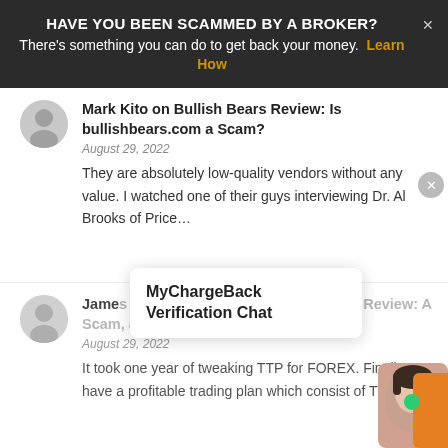HAVE YOU BEEN SCAMMED BY A BROKER? There's something you can do to get back your money. Learn How
Mark Kito on Bullish Bears Review: Is bullishbears.com a Scam?
August 29, 2022
They are absolutely low-quality vendors without any value. I watched one of their guys interviewing Dr. Al Brooks of Price...
James M. Fones, II on Trend Trader PRO Review: A Scam, a Money Trap
August 29, 2022
It took one year of tweaking TTP for FOREX. Finally have a profitable trading plan which consist of TTP
[Figure (screenshot): MyChargeBack Verification Chat popup overlay]